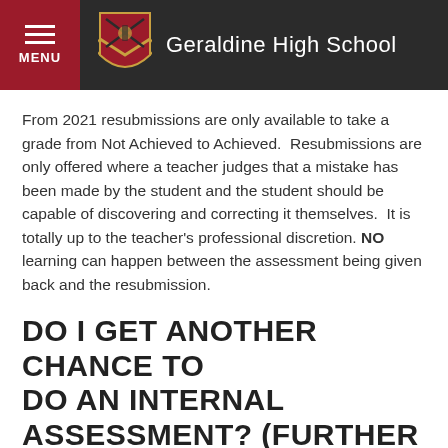Geraldine High School
From 2021 resubmissions are only available to take a grade from Not Achieved to Achieved. Resubmissions are only offered where a teacher judges that a mistake has been made by the student and the student should be capable of discovering and correcting it themselves. It is totally up to the teacher's professional discretion. NO learning can happen between the assessment being given back and the resubmission.
DO I GET ANOTHER CHANCE TO DO AN INTERNAL ASSESSMENT? (FURTHER ASSESSMENT OPPORTUNITIES)